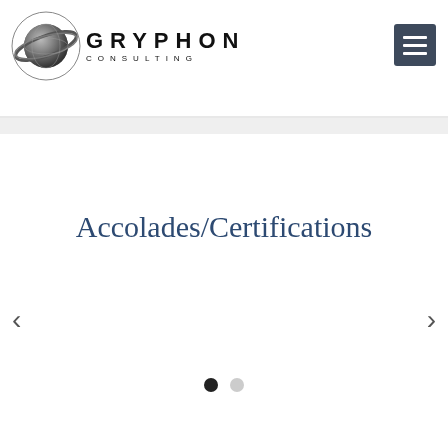[Figure (logo): Gryphon Consulting logo with stylized planet/sphere graphic and text 'GRYPHON CONSULTING']
[Figure (other): Hamburger menu button (three horizontal lines) on dark blue-gray square background]
Accolades/Certifications
[Figure (other): Carousel navigation: left arrow chevron, right arrow chevron, and two indicator dots (one filled black, one gray)]